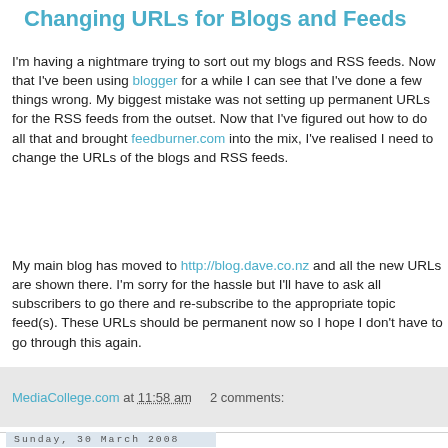Changing URLs for Blogs and Feeds
I'm having a nightmare trying to sort out my blogs and RSS feeds. Now that I've been using blogger for a while I can see that I've done a few things wrong. My biggest mistake was not setting up permanent URLs for the RSS feeds from the outset. Now that I've figured out how to do all that and brought feedburner.com into the mix, I've realised I need to change the URLs of the blogs and RSS feeds.
My main blog has moved to http://blog.dave.co.nz and all the new URLs are shown there. I'm sorry for the hassle but I'll have to ask all subscribers to go there and re-subscribe to the appropriate topic feed(s). These URLs should be permanent now so I hope I don't have to go through this again.
MediaCollege.com at 11:58 am   2 comments:
Sunday, 30 March 2008
MC Media Player's RSS URL has